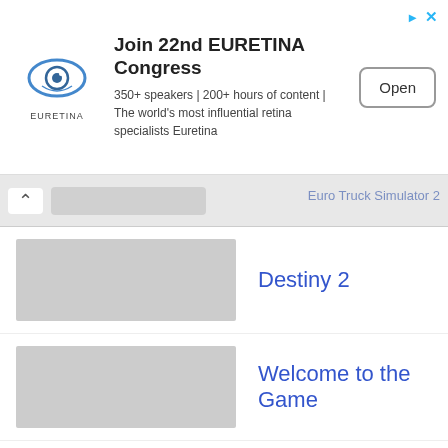[Figure (infographic): Advertisement banner for EURETINA Congress: logo of an eye with text EURETINA, headline 'Join 22nd EURETINA Congress', body text '350+ speakers | 200+ hours of content | The world's most influential retina specialists Euretina', and an Open button.]
Euro Truck Simulator 2
Destiny 2
Welcome to the Game
Planet Zoo
Crusader Kings III
Dead by Daylight